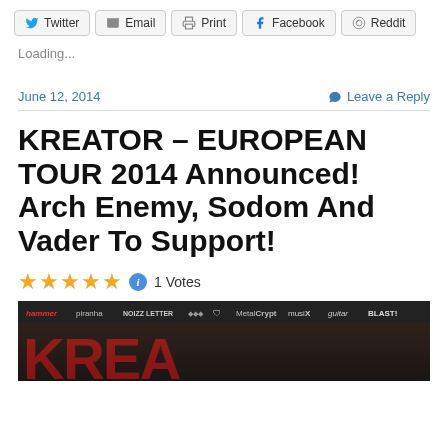Twitter | Email | Print | Facebook | Reddit
Loading...
June 12, 2014    Leave a Reply
KREATOR – EUROPEAN TOUR 2014 Announced! Arch Enemy, Sodom And Vader To Support!
★★★★★ ℹ 1 Votes
[Figure (photo): Kreator European Tour 2014 concert poster with sponsor logos (Hammer, Piranha, Noizz Letter, metal magazine logos, musix, guitar, BLAST!) and large red KREATOR letters at the bottom]